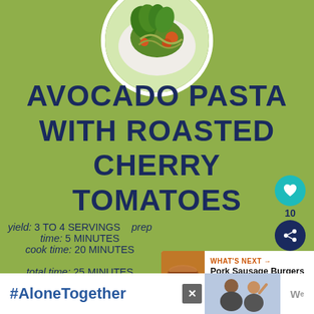[Figure (photo): Circular photo of avocado pasta with cherry tomatoes and fresh basil leaves on a plate]
AVOCADO PASTA WITH ROASTED CHERRY TOMATOES
yield: 3 TO 4 SERVINGS   prep time: 5 MINUTES
cook time: 20 MINUTES
total time: 25 MINUTES
[Figure (infographic): What's Next panel showing Pork Sausage Burgers with thumbnail image]
[Figure (infographic): #AloneTogether advertisement banner with people image and logo]